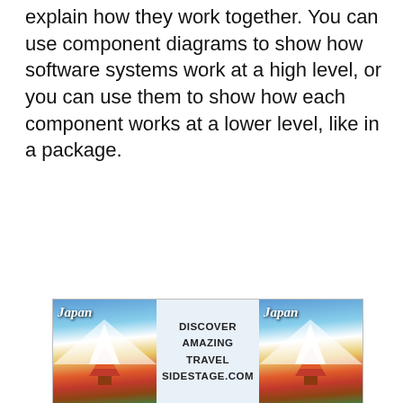explain how they work together. You can use component diagrams to show how software systems work at a high level, or you can use them to show how each component works at a lower level, like in a package.
[Figure (other): Japan travel advertisement banner with two landscape photos of Japan (Mount Fuji with pagoda) flanking centered text: DISCOVER AMAZING TRAVEL SIDESTAGE.COM]
Blood Bank Management System Component Diagram (Explanation)
[Figure (other): Video player area showing 'No compatible source was found for this media.' with watermark text of MANAGEMENT SYSTEM overlaid in large faded letters, and a secondary advertisement overlay for 'Experience Promptless Printing' from ScriptX by Meadroid with Open button.]